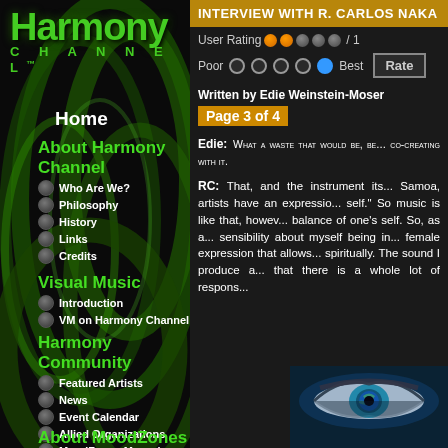[Figure (illustration): Harmony Channel logo with green stylized text and CHANNEL in spaced caps below, on black background with green wave/swirl design]
INTERVIEW WITH R. CARLOS NAKA
User Rating / 1
Poor  Best  Rate
Written by Edie Weinstein-Moser
Page 3 of 4
Home
About Harmony Channel
Who Are We?
Philosophy
History
Links
Credits
Visual Music
Introduction
VM on Harmony Channel
Harmony Community
Featured Artists
News
Event Calendar
Allied Organizations
MoodZones Magazine
About MoodZones
Love Zone
Energy Zone
Edie: What a waste that would be, be... co-creating with it.
RC: That, and the instrument its... Samoa, artists have an expressio... self." So music is like that, howev... balance of one's self. So, as a... sensibility about myself being in... female expression that allows... spiritually. The sound I produce a... that there is a whole lot of respons...
[Figure (photo): Close-up eye image with globe/earth reflection, teal/blue tones]